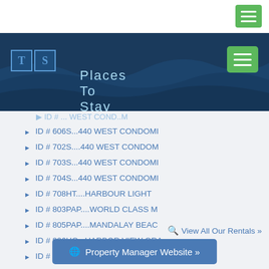[Figure (screenshot): Website screenshot showing 'Places To Stay' rental listing page with a blue banner header containing TS logo and navigation, followed by a list of rental property IDs and names, a 'View All Our Rentals' link, and a 'Property Manager Website' button.]
ID # 606S...440 WEST CONDOMI
ID # 702S....440 WEST CONDOM
ID # 703S...440 WEST CONDOMI
ID # 704S...440 WEST CONDOMI
ID # 708HT....HARBOUR LIGHT
ID # 803PAP....WORLD CLASS M
ID # 805PAP....MANDALAY BEAC
ID # 806HG...HARBOR VIEW GRA
ID # 806PAP....MANDALAY BEAC
ID# 810SB....SOUTH BEACH IV
View All Our Rentals »
Property Manager Website »